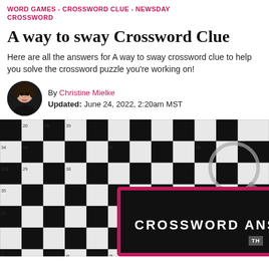WORD GAMES - CROSSWORD CLUE - NEWSDAY CROSSWORD
A way to sway Crossword Clue
Here are all the answers for A way to sway crossword clue to help you solve the crossword puzzle you're working on!
By Christine Mielke
Updated: June 24, 2022, 2:20am MST
[Figure (photo): Crossword puzzle grid with black and white squares and numbered cells, with a magnifying glass. Overlaid is a dark banner with pink/magenta border reading CROSSWORD ANSWER in white bold text.]